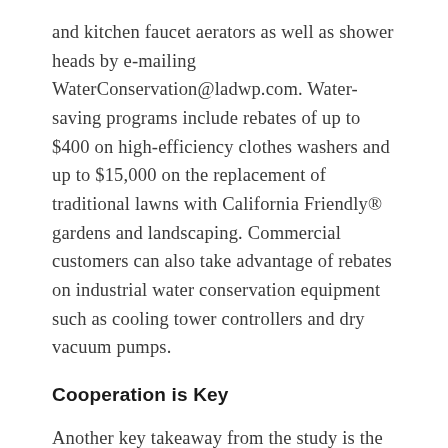and kitchen faucet aerators as well as shower heads by e-mailing WaterConservation@ladwp.com. Water-saving programs include rebates of up to $400 on high-efficiency clothes washers and up to $15,000 on the replacement of traditional lawns with California Friendly® gardens and landscaping. Commercial customers can also take advantage of rebates on industrial water conservation equipment such as cooling tower controllers and dry vacuum pumps.
Cooperation is Key
Another key takeaway from the study is the importance of establishing an appropriate